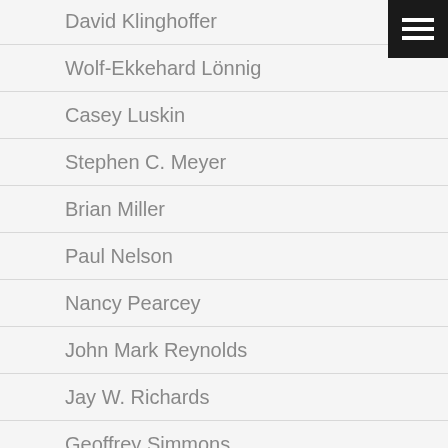David Klinghoffer
Wolf-Ekkehard Lönnig
Casey Luskin
Stephen C. Meyer
Brian Miller
Paul Nelson
Nancy Pearcey
John Mark Reynolds
Jay W. Richards
Geoffrey Simmons
Wesley J. Smith